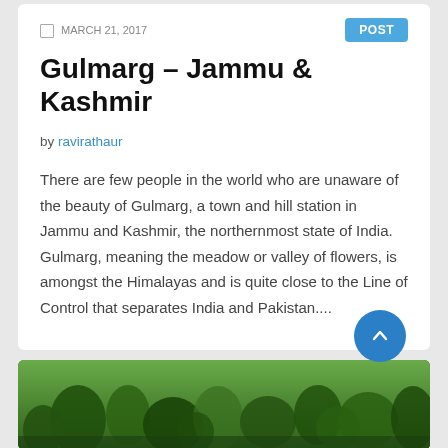MARCH 21, 2017 | POST
Gulmarg – Jammu & Kashmir
by ravirathaur
There are few people in the world who are unaware of the beauty of Gulmarg, a town and hill station in Jammu and Kashmir, the northernmost state of India. Gulmarg, meaning the meadow or valley of flowers, is amongst the Himalayas and is quite close to the Line of Control that separates India and Pakistan....
[Figure (photo): Aerial/scenic photo of green forested hills, likely Gulmarg area in Jammu & Kashmir]